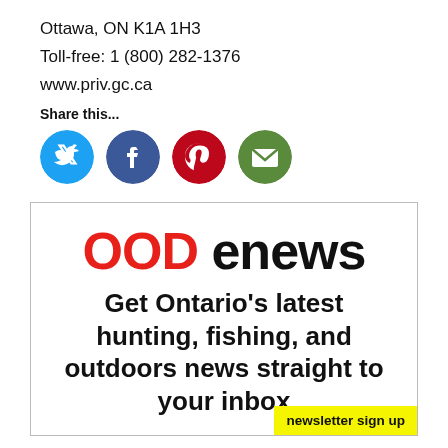Ottawa, ON K1A 1H3
Toll-free: 1 (800) 282-1376
www.priv.gc.ca
Share this...
[Figure (illustration): Four social media share icons in circles: Twitter (blue), Facebook (dark blue), Pinterest (red), Email/envelope (green)]
[Figure (infographic): OOD enews advertisement box with red 'OOD' and black 'enews' heading, body text 'Get Ontario's latest hunting, fishing, and outdoors news straight to your inbox', and a yellow 'newsletter sign up' badge in the bottom right corner.]